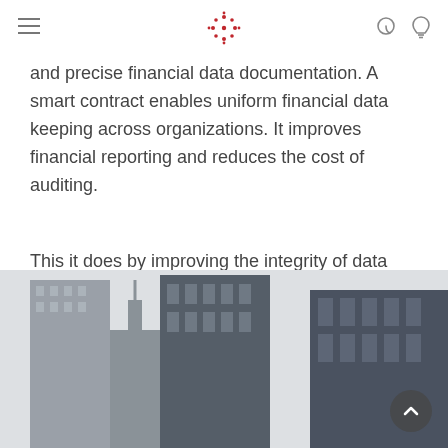[Navigation header with hamburger menu, logo, and icons]
and precise financial data documentation. A smart contract enables uniform financial data keeping across organizations. It improves financial reporting and reduces the cost of auditing.
This it does by improving the integrity of data which support increased market stability. They also decrease accounting costs by allowing cost distribution among organizations.
[Figure (photo): Photograph of city skyscrapers and financial district buildings viewed from street level looking up, showing tall glass office towers against a light sky.]